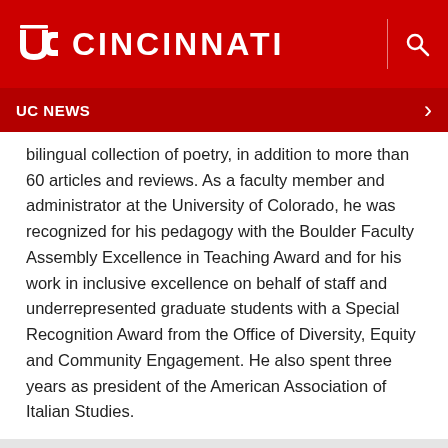UC CINCINNATI
UC NEWS
bilingual collection of poetry, in addition to more than 60 articles and reviews. As a faculty member and administrator at the University of Colorado, he was recognized for his pedagogy with the Boulder Faculty Assembly Excellence in Teaching Award and for his work in inclusive excellence on behalf of staff and underrepresented graduate students with a Special Recognition Award from the Office of Diversity, Equity and Community Engagement. He also spent three years as president of the American Association of Italian Studies.